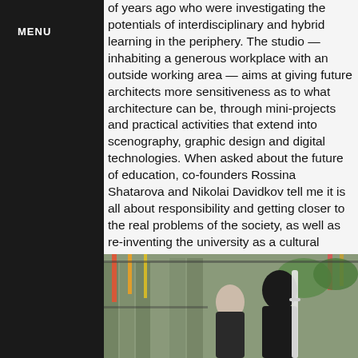MENU
of years ago who were investigating the potentials of interdisciplinary and hybrid learning in the periphery. The studio — inhabiting a generous workplace with an outside working area — aims at giving future architects more sensitiveness as to what architecture can be, through mini-projects and practical activities that extend into scenography, graphic design and digital technologies. When asked about the future of education, co-founders Rossina Shatarova and Nikolai Davidkov tell me it is all about responsibility and getting closer to the real problems of the society, as well as re-inventing the university as a cultural institution.
[Figure (photo): Two women in black clothing working in an outdoor studio space with glass walls, colorful hanging fabrics, and architectural materials. One woman in the foreground is handling a long white material or ribbon.]